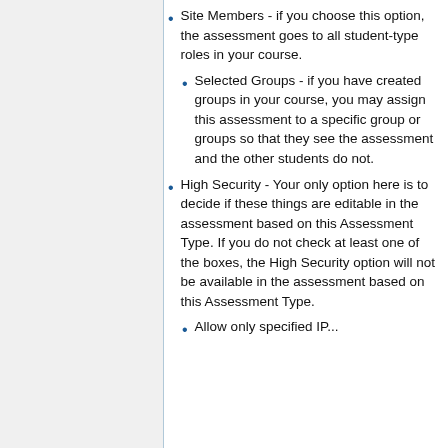Site Members - if you choose this option, the assessment goes to all student-type roles in your course.
Selected Groups - if you have created groups in your course, you may assign this assessment to a specific group or groups so that they see the assessment and the other students do not.
High Security - Your only option here is to decide if these things are editable in the assessment based on this Assessment Type. If you do not check at least one of the boxes, the High Security option will not be available in the assessment based on this Assessment Type.
Allow only specified IP...